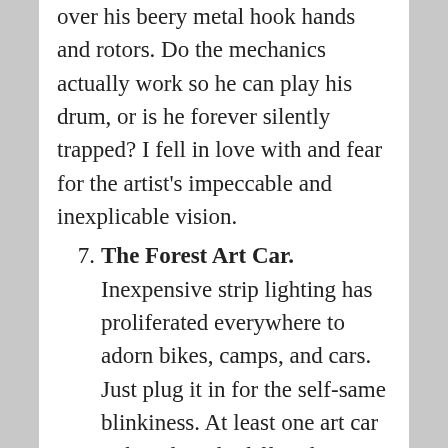over his beery metal hook hands and rotors. Do the mechanics actually work so he can play his drum, or is he forever silently trapped? I fell in love with and fear for the artist's impeccable and inexplicable vision.
7. The Forest Art Car. Inexpensive strip lighting has proliferated everywhere to adorn bikes, camps, and cars. Just plug it in for the self-same blinkiness. At least one art car rather cleverly diffused its lights. Picture a massive, moveable forest whose spiky tree branches shine enough to frighten Macbeth.